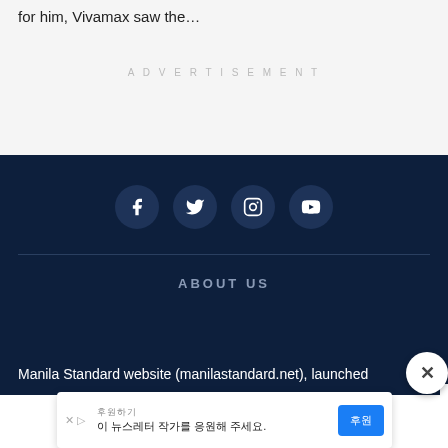for him, Vivamax saw the…
ADVERTISEMENT
[Figure (other): Website footer with social media icons (Facebook, Twitter, Instagram, YouTube) on dark navy background, horizontal divider, ABOUT US heading, and partial footer text about Manila Standard website]
ABOUT US
Manila Standard website (manilastandard.net), launched
[Figure (other): Ad banner overlay with Korean text, X and play icons, and blue button]